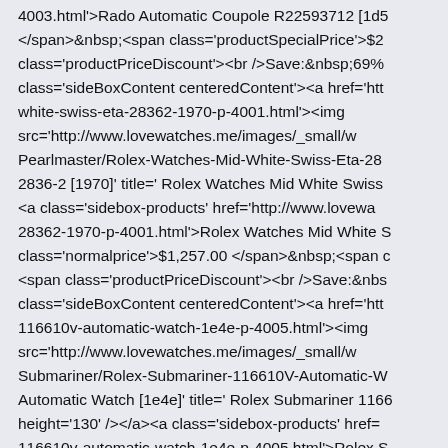4003.html'>Rado Automatic Coupole R22593712 [1d5 </span>&nbsp;<span class='productSpecialPrice'>$2 class='productPriceDiscount'><br />Save:&nbsp;69% class='sideBoxContent centeredContent'><a href='htt white-swiss-eta-28362-1970-p-4001.html'><img src='http://www.lovewatches.me/images/_small/w Pearlmaster/Rolex-Watches-Mid-White-Swiss-Eta-28 2836-2 [1970]' title=' Rolex Watches Mid White Swiss <a class='sidebox-products' href='http://www.lovewa 28362-1970-p-4001.html'>Rolex Watches Mid White S class='normalprice'>$1,257.00 </span>&nbsp;<span c <span class='productPriceDiscount'><br />Save:&nbs class='sideBoxContent centeredContent'><a href='htt 116610v-automatic-watch-1e4e-p-4005.html'><img src='http://www.lovewatches.me/images/_small/w Submariner/Rolex-Submariner-116610V-Automatic-W Automatic Watch [1e4e]' title=' Rolex Submariner 1166 height='130' /></a><a class='sidebox-products' href= 116610v-automatic-watch-1e4e-p-4005.html'>Rolex S